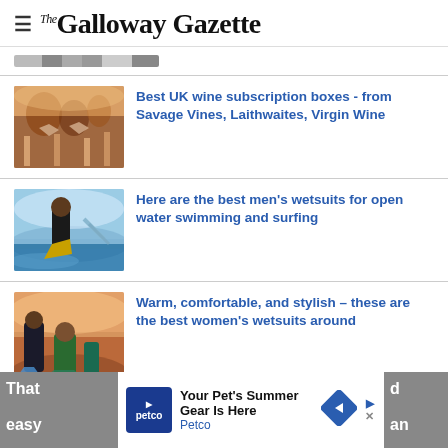The Galloway Gazette
[Figure (photo): Partially visible thumbnail image row at top]
Best UK wine subscription boxes - from Savage Vines, Laithwaites, Virgin Wine
Here are the best men's wetsuits for open water swimming and surfing
Warm, comfortable, and stylish – these are the best women's wetsuits around
Your Pet's Summer Gear Is Here Petco
That ... easy ... an